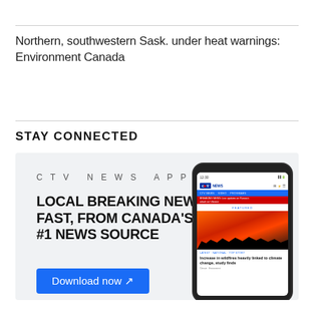Northern, southwestern Sask. under heat warnings: Environment Canada
STAY CONNECTED
[Figure (screenshot): CTV News App advertisement featuring a phone mockup showing the CTV News app interface with a wildfire image and headline 'Increase in wildfires heavily linked to climate change, study finds'. Text reads: CTV NEWS APP — LOCAL BREAKING NEWS, FAST, FROM CANADA'S #1 NEWS SOURCE — Download now ↗]